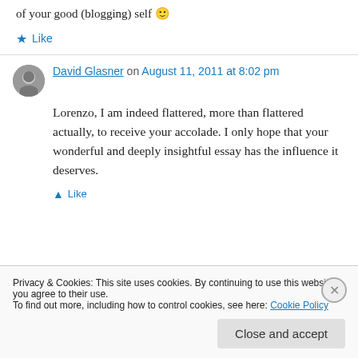of your good (blogging) self 🙂
★ Like
David Glasner on August 11, 2011 at 8:02 pm
Lorenzo, I am indeed flattered, more than flattered actually, to receive your accolade. I only hope that your wonderful and deeply insightful essay has the influence it deserves.
★ Like
Privacy & Cookies: This site uses cookies. By continuing to use this website, you agree to their use. To find out more, including how to control cookies, see here: Cookie Policy
Close and accept